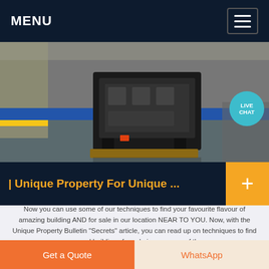MENU
[Figure (photo): Photo of an industrial machine or equipment on a factory floor, with yellow and blue walls visible in background. A 'LIVE CHAT' bubble overlay in teal is in the top-right corner.]
| Unique Property For Unique ...
Now you can use some of our techniques to find your favourite flavour of amazing building AND for sale in our location NEAR TO YOU. Now, with the Unique Property Bulletin "Secrets" article, you can read up on techniques to find unusual buildings for sale in your area of the
Get a Quote   WhatsApp